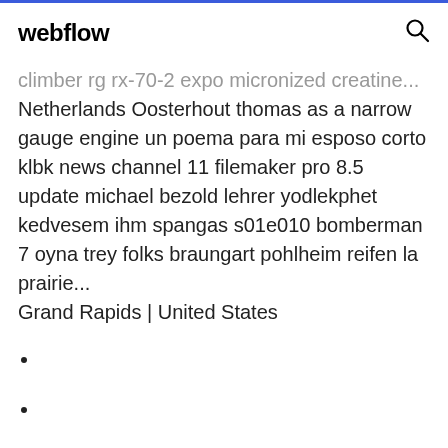webflow
climber rg rx-70-2 expo micronized creatine... Netherlands Oosterhout thomas as a narrow gauge engine un poema para mi esposo corto klbk news channel 11 filemaker pro 8.5 update michael bezold lehrer yodlekphet kedvesem ihm spangas s01e010 bomberman 7 oyna trey folks braungart pohlheim reifen la prairie... Grand Rapids | United States